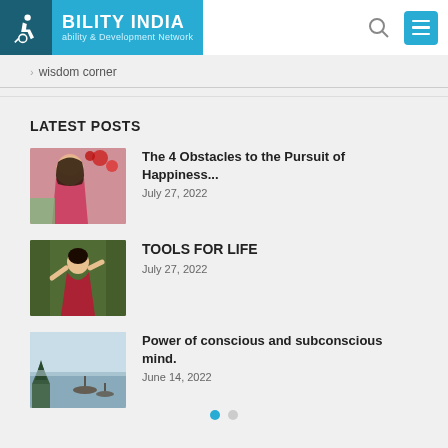BILITY INDIA - Disability & Development Network
> wisdom corner
LATEST POSTS
The 4 Obstacles to the Pursuit of Happiness... July 27, 2022
TOOLS FOR LIFE July 27, 2022
Power of conscious and subconscious mind. June 14, 2022